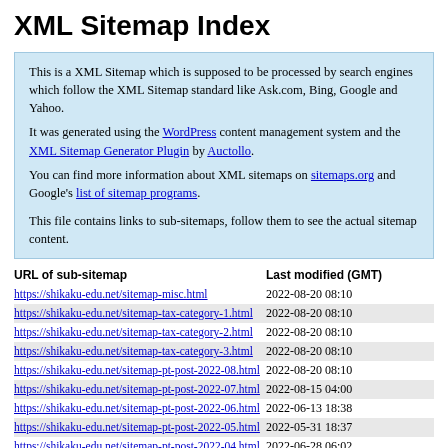XML Sitemap Index
This is a XML Sitemap which is supposed to be processed by search engines which follow the XML Sitemap standard like Ask.com, Bing, Google and Yahoo.
It was generated using the WordPress content management system and the XML Sitemap Generator Plugin by Auctollo.
You can find more information about XML sitemaps on sitemaps.org and Google's list of sitemap programs.

This file contains links to sub-sitemaps, follow them to see the actual sitemap content.
| URL of sub-sitemap | Last modified (GMT) |
| --- | --- |
| https://shikaku-edu.net/sitemap-misc.html | 2022-08-20 08:10 |
| https://shikaku-edu.net/sitemap-tax-category-1.html | 2022-08-20 08:10 |
| https://shikaku-edu.net/sitemap-tax-category-2.html | 2022-08-20 08:10 |
| https://shikaku-edu.net/sitemap-tax-category-3.html | 2022-08-20 08:10 |
| https://shikaku-edu.net/sitemap-pt-post-2022-08.html | 2022-08-20 08:10 |
| https://shikaku-edu.net/sitemap-pt-post-2022-07.html | 2022-08-15 04:00 |
| https://shikaku-edu.net/sitemap-pt-post-2022-06.html | 2022-06-13 18:38 |
| https://shikaku-edu.net/sitemap-pt-post-2022-05.html | 2022-05-31 18:37 |
| https://shikaku-edu.net/sitemap-pt-post-2022-04.html | 2022-06-28 06:02 |
| https://shikaku-edu.net/sitemap-pt-post-2022-03.html | 2022-05-14 04:40 |